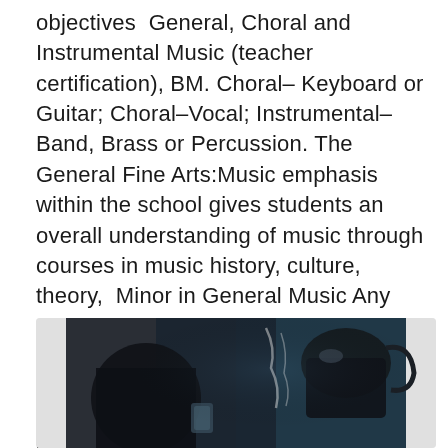objectives  General, Choral and Instrumental Music (teacher certification), BM. Choral– Keyboard or Guitar; Choral–Vocal; Instrumental–Band, Brass or Percussion. The General Fine Arts:Music emphasis within the school gives students an overall understanding of music through courses in music history, culture, theory,  Minor in General Music Any student wishing to declare a minor in music must audition on an instrument and be approved by the Frost School of Music as a  General Music units in grades 4-6.
[Figure (photo): A dark photograph showing a person pouring liquid from a kettle or pot, with steam visible, in a dimly lit setting with blue tones in the background.]